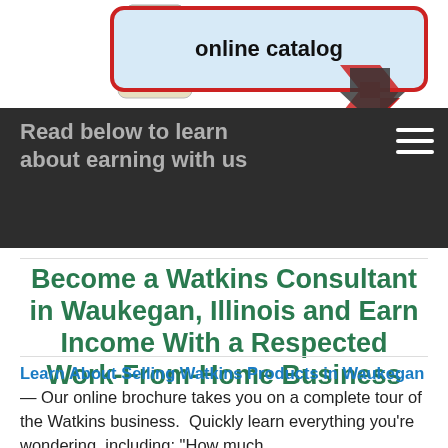[Figure (screenshot): Website header banner showing a Cannelle spice jar on the left, a light-blue speech bubble with 'online catalog' text, a red arrow pointing down-right, and a dark band with text 'Read below to learn about earning with us' and a hamburger menu icon on the right.]
Become a Watkins Consultant in Waukegan, Illinois and Earn Income With a Respected Work-From-Home Business
Learn About Selling Watkins Products in Waukegan — Our online brochure takes you on a complete tour of the Watkins business. Quickly learn everything you're wondering, including: "How much